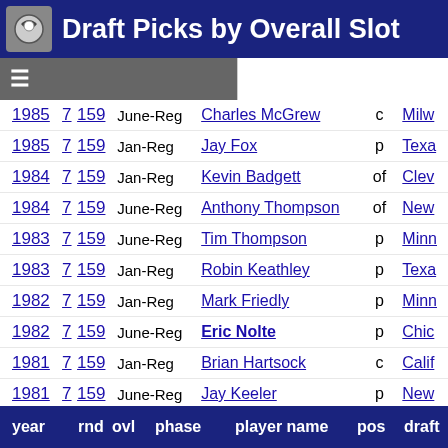Draft Picks by Overall Slot
| year | rnd | ovl | phase | player name | pos | draft |
| --- | --- | --- | --- | --- | --- | --- |
| 1985 | 7 | 159 | June-Reg | Charles McGrew | c | Milw... |
| 1985 | 7 | 159 | Jan-Reg | Jay Fox | p | Texa... |
| 1984 | 7 | 159 | Jan-Reg | Kevin Badgett | of | Clev... |
| 1984 | 7 | 159 | June-Reg | Anthony Thompson | of | New... |
| 1983 | 7 | 159 | June-Reg | Tim Thompson | p | Minn... |
| 1983 | 7 | 159 | Jan-Reg | Robin Keathley | p | Texa... |
| 1982 | 7 | 159 | Jan-Reg | Mark Friedly | p | Minn... |
| 1982 | 7 | 159 | June-Reg | Eric Nolte | p | Chic... |
| 1981 | 7 | 159 | Jan-Reg | Brian Hartsock | c | Calif... |
| 1981 | 7 | 159 | June-Reg | Jay Keeler | p | New... |
| 1980 | 7 | 159 | June-Reg | Keith Hagman | 1b | Atlan... |
| 1980 | 7 | 159 | Jan-Reg | Steve Giovacchini | p | Clev... |